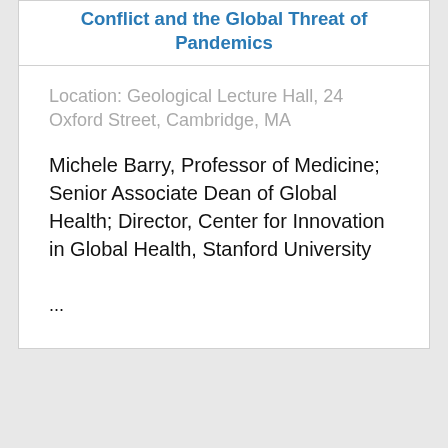Conflict and the Global Threat of Pandemics
Location: Geological Lecture Hall, 24 Oxford Street, Cambridge, MA
Michele Barry, Professor of Medicine; Senior Associate Dean of Global Health; Director, Center for Innovation in Global Health, Stanford University
...